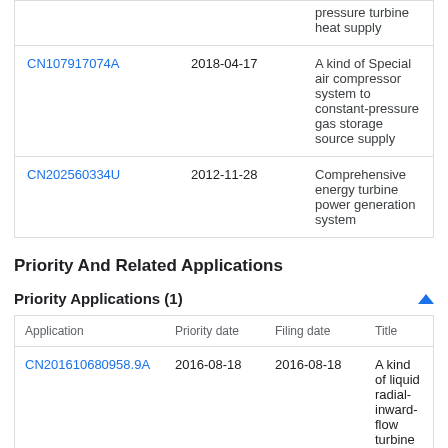|  | Date | Title |
| --- | --- | --- |
| CN107917074A | 2018-04-17 | A kind of Special air compressor system to constant-pressure gas storage source supply |
| CN202560334U | 2012-11-28 | Comprehensive energy turbine power generation system |
Priority And Related Applications
Priority Applications (1)
| Application | Priority date | Filing date | Title |
| --- | --- | --- | --- |
| CN201610680958.9A | 2016-08-18 | 2016-08-18 | A kind of liquid radial-inward-flow turbine energy recycle... |